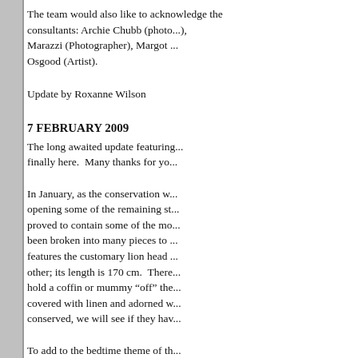The team would also like to acknowledge the consultants: Archie Chubb (photo...), Marazzi (Photographer), Margot ... Osgood (Artist).
Update by Roxanne Wilson
7 FEBRUARY 2009
The long awaited update featuring... finally here.  Many thanks for yo...
In January, as the conservation w... opening some of the remaining st... proved to contain some of the mo... been broken into many pieces to ... features the customary lion head ... other; its length is 170 cm.  There... hold a coffin or mummy "off" the... covered with linen and adorned w... conserved, we will see if they hav...
To add to the bedtime theme of th... 10th from KV-63).  Though pushe... appears to be quite intact and in e...